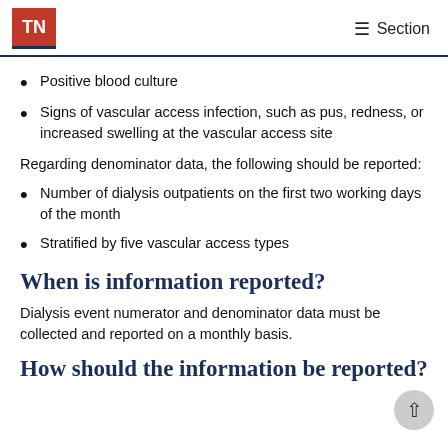TN   ☰ Section
Positive blood culture
Signs of vascular access infection, such as pus, redness, or increased swelling at the vascular access site
Regarding denominator data, the following should be reported:
Number of dialysis outpatients on the first two working days of the month
Stratified by five vascular access types
When is information reported?
Dialysis event numerator and denominator data must be collected and reported on a monthly basis.
How should the information be reported?